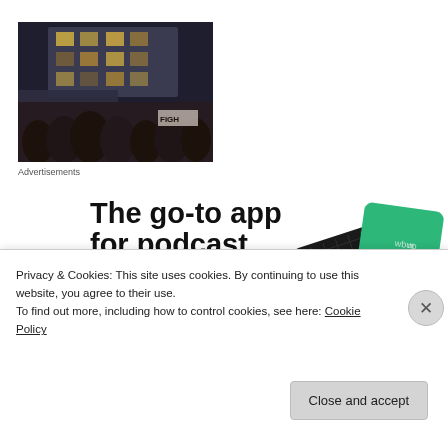[Figure (photo): Crowd protest photo at night outside a modern glass building, people holding signs, dark moody lighting]
Advertisements
[Figure (infographic): Podcast app advertisement: bold text 'The go-to app for podcast lovers.' with 'Download now' in red, and app card graphics on the right]
Privacy & Cookies: This site uses cookies. By continuing to use this website, you agree to their use.
To find out more, including how to control cookies, see here: Cookie Policy
Close and accept